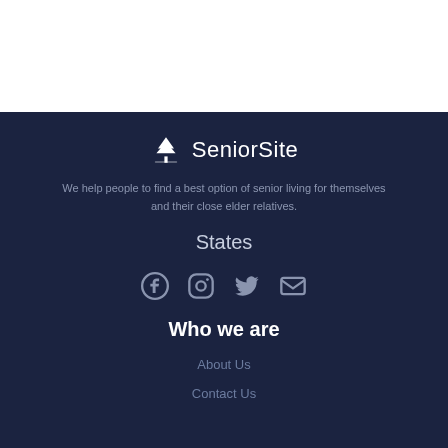[Figure (logo): SeniorSite logo with tree icon and text 'SeniorSite']
We help people to find a best option of senior living for themselves and their close elder relatives.
States
[Figure (infographic): Social media icons: Facebook, Instagram, Twitter, Email]
Who we are
About Us
Contact Us